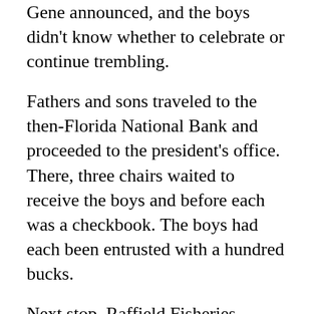Gene announced, and the boys didn't know whether to celebrate or continue trembling.
Fathers and sons traveled to the then-Florida National Bank and proceeded to the president's office. There, three chairs waited to receive the boys and before each was a checkbook. The boys had each been entrusted with a hundred bucks.
Next stop, Raffield Fisheries.
There, all the employees had gathered around three 24-foot mullet skiffs equipped with 25-horsepower Evinrude outboard engines, one for each boy.